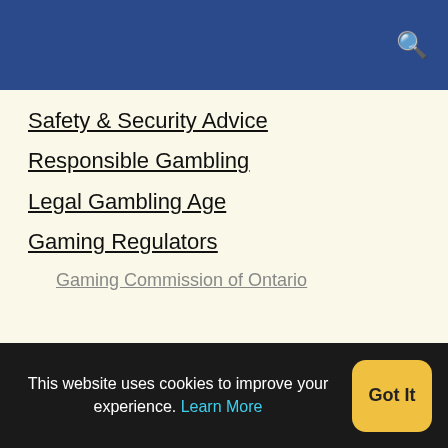[Search icon]
Safety & Security Advice
Responsible Gambling
Legal Gambling Age
Gaming Regulators
Gaming Commission of Ontario
About OnlineCasinos.Net
OnlineCasinos.Net helps you find the best safe licensed online casinos. You can read more here about us and the site here: So How is OnlineCasinos.net Different from the Rest?.
This website uses cookies to improve your experience. Learn More